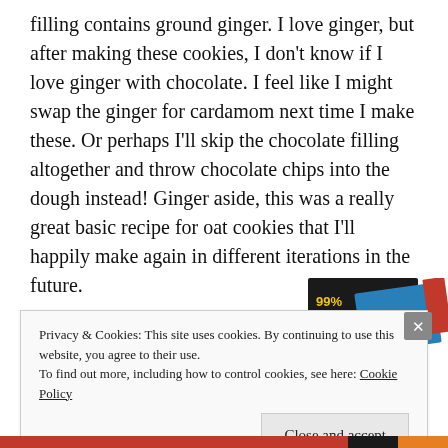filling contains ground ginger. I love ginger, but after making these cookies, I don't know if I love ginger with chocolate. I feel like I might swap the ginger for cardamom next time I make these. Or perhaps I'll skip the chocolate filling altogether and throw chocolate chips into the dough instead! Ginger aside, this was a really great basic recipe for oat cookies that I'll happily make again in different iterations in the future.
[Figure (other): Partial view of a '99% Invisible' podcast/book cover with black and blue design and red element]
Privacy & Cookies: This site uses cookies. By continuing to use this website, you agree to their use.
To find out more, including how to control cookies, see here: Cookie Policy
Close and accept